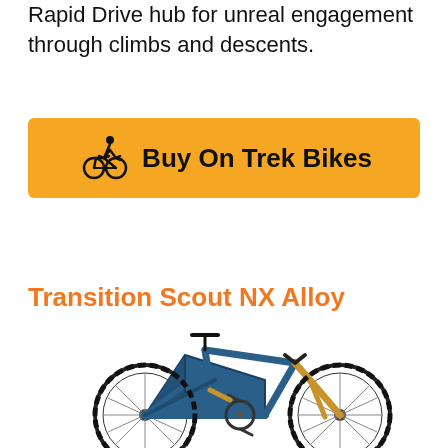Rapid Drive hub for unreal engagement through climbs and descents.
[Figure (other): Yellow button with bicycle icon and text 'Buy On Trek Bikes']
Transition Scout NX Alloy
[Figure (photo): Blue full-suspension mountain bike (Transition Scout NX Alloy) with gold front fork, knobby tires, on white background]